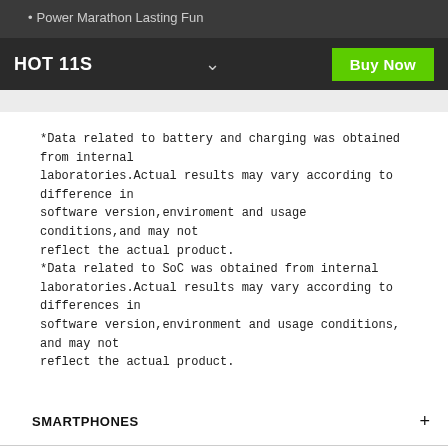Power Marathon Lasting Fun
HOT 11S  ∨  Buy Now
*Data related to battery and charging was obtained from internal laboratories.Actual results may vary according to difference in software version,enviroment and usage conditions,and may not reflect the actual product.
*Data related to SoC was obtained from internal laboratories.Actual results may vary according to differences in software version,environment and usage conditions, and may not reflect the actual product.
SMARTPHONES +
ABOUT +
CARE +
SHOP +